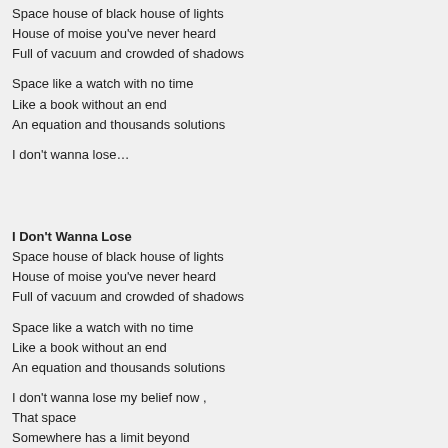Space house of black house of lights
House of moise you've never heard
Full of vacuum and crowded of shadows
Space like a watch with no time
Like a book without an end
An equation and thousands solutions
I don't wanna lose…
I Don't Wanna Lose
Space house of black house of lights
House of moise you've never heard
Full of vacuum and crowded of shadows
Space like a watch with no time
Like a book without an end
An equation and thousands solutions
I don't wanna lose my belief now ,
That space
Somewhere has a limit beyond